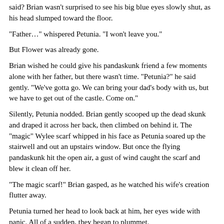said? Brian wasn't surprised to see his big blue eyes slowly shut, as his head slumped toward the floor.
“Father…” whispered Petunia. “I won’t leave you.”
But Flower was already gone.
Brian wished he could give his pandaskunk friend a few moments alone with her father, but there wasn’t time. “Petunia?” he said gently. “We’ve gotta go. We can bring your dad’s body with us, but we have to get out of the castle. Come on.”
Silently, Petunia nodded. Brian gently scooped up the dead skunk and draped it across her back, then climbed on behind it. The “magic” Wylee scarf whipped in his face as Petunia soared up the stairwell and out an upstairs window. But once the flying pandaskunk hit the open air, a gust of wind caught the scarf and blew it clean off her.
“The magic scarf!” Brian gasped, as he watched his wife’s creation flutter away.
Petunia turned her head to look back at him, her eyes wide with panic. All of a sudden, they began to plummet.